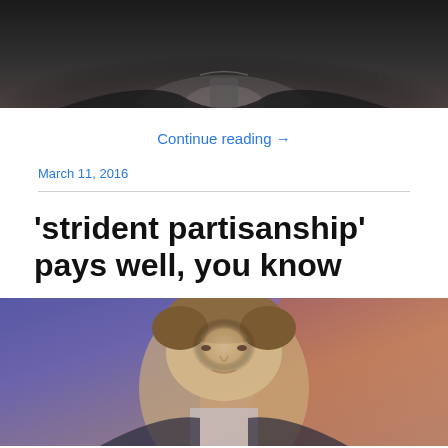[Figure (photo): Top portion of a person in a dark suit, cropped at the neck/shoulder area, dark background]
Continue reading →
March 11, 2016
'strident partisanship' pays well, you know
[Figure (photo): A man with brown hair on a television news set with colorful blue and red background lighting]